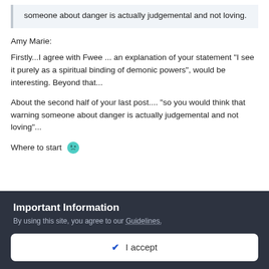someone about danger is actually judgemental and not loving.
Amy Marie:
Firstly...I agree with Fwee ... an explanation of your statement "I see it purely as a spiritual binding of demonic powers", would be interesting. Beyond that...
About the second half of your last post.... "so you would think that warning someone about danger is actually judgemental and not loving"...
Where to start 😏
Important Information
By using this site, you agree to our Guidelines.
✔ I accept